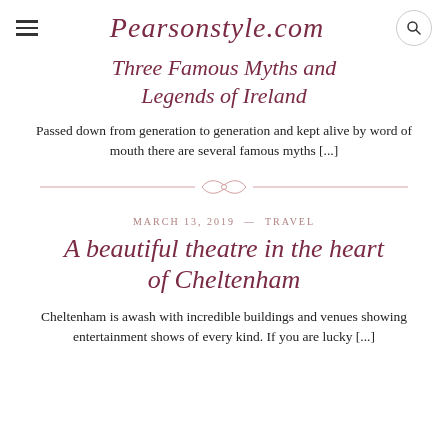Pearsonstyle.com
Three Famous Myths and Legends of Ireland
Passed down from generation to generation and kept alive by word of mouth there are several famous myths [...]
[Figure (illustration): Decorative divider with ornamental diamond/loop motif and horizontal lines]
MARCH 13, 2019 — TRAVEL
A beautiful theatre in the heart of Cheltenham
Cheltenham is awash with incredible buildings and venues showing entertainment shows of every kind. If you are lucky [...]